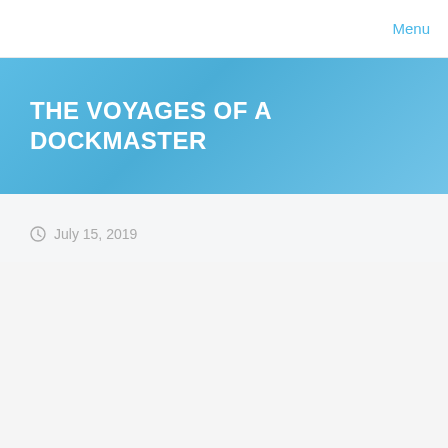Menu
THE VOYAGES OF A DOCKMASTER
July 15, 2019